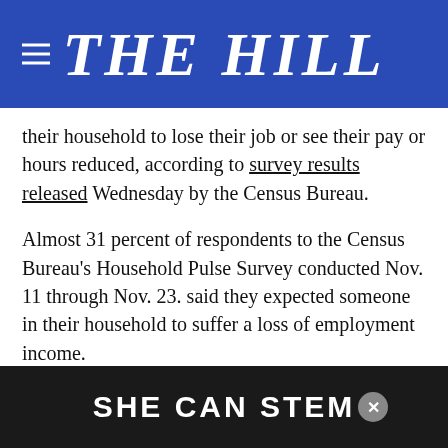THE HILL
their household to lose their job or see their pay or hours reduced, according to survey results released Wednesday by the Census Bureau.
Almost 31 percent of respondents to the Census Bureau's Household Pulse Survey conducted Nov. 11 through Nov. 23. said they expected someone in their household to suffer a loss of employment income.
Another 33.2 percent said they expected to face foreclosure or eviction within the next two months, 34.5 percent said they have struggled to pay basic expenses, and roughly 12 percent said there was someone in their household who had left their home...
[Figure (other): SHE CAN STEM advertisement banner overlay at bottom of page with close button]